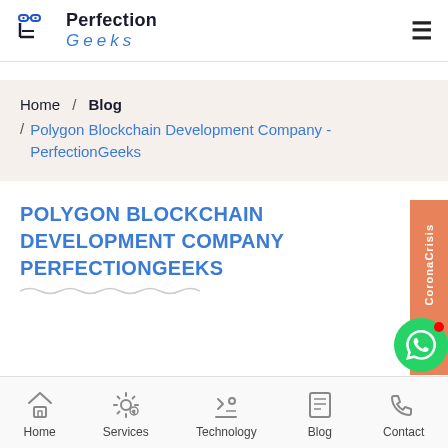Perfection Geeks
Home / Blog / Polygon Blockchain Development Company - PerfectionGeeks
POLYGON BLOCKCHAIN DEVELOPMENT COMPANY PERFECTIONGEEKS
Home | Services | Technology | Blog | Contact